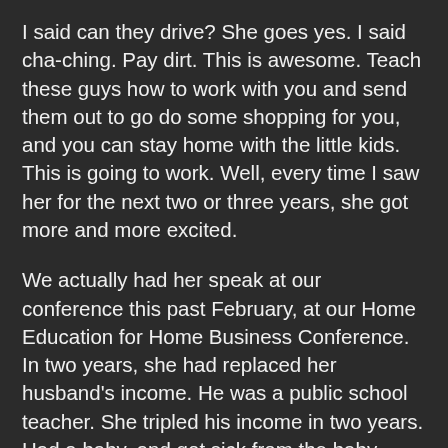I said can they drive? She goes yes. I said cha-ching. Pay dirt. This is awesome. Teach these guys how to work with you and send them out to go do some shopping for you, and you can stay home with the little kids. This is going to work. Well, every time I saw her for the next two or three years, she got more and more excited.
We actually had her speak at our conference this past February, at our Home Education for Home Business Conference. In two years, she had replaced her husband's income. He was a public school teacher. She tripled his income in two years. Had a baby, and got sick from the baby, from when she was pregnant. She had a bad pregnancy. Had the baby, recovered from that, and was still sick. Brought her husband home, and one of the boys, I think, graduated from school or something. They were helping her, but I think they're actually both gone now. That was two years. They beat us. She actually says, now,